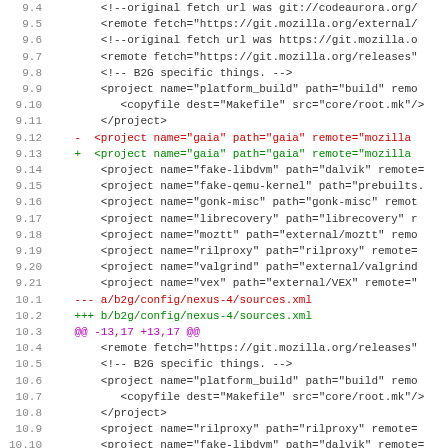[Figure (screenshot): Code diff view showing git patch for B2G config files, lines 9.4 through 10.14, with red removed lines and green added lines for gaia project entries in sources.xml files]